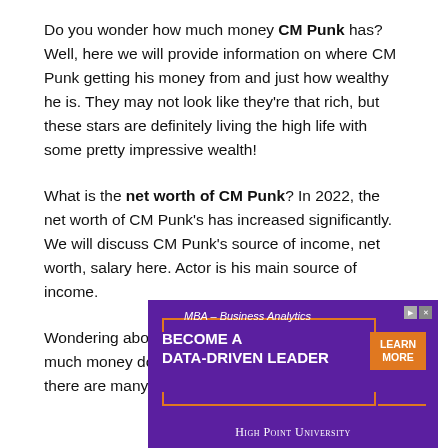Do you wonder how much money CM Punk has? Well, here we will provide information on where CM Punk getting his money from and just how wealthy he is. They may not look like they're that rich, but these stars are definitely living the high life with some pretty impressive wealth!
What is the net worth of CM Punk? In 2022, the net worth of CM Punk's has increased significantly. We will discuss CM Punk's source of income, net worth, salary here. Actor is his main source of income.
Wondering about the net worth of CM Punk? How much money does he make, you might think? But there are many
[Figure (infographic): Advertisement banner for High Point University MBA Business Analytics program. Purple background with orange bracket decorations. Text: MBA – Business Analytics, BECOME A DATA-DRIVEN LEADER, with LEARN MORE button and High Point University logo at bottom.]